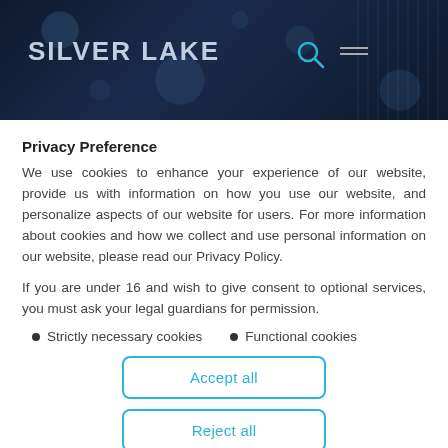[Figure (logo): Silver Lake logo header banner with dark navy background and bokeh circle effects, search icon and menu icon on the right]
Privacy Preference
We use cookies to enhance your experience of our website, provide us with information on how you use our website, and personalize aspects of our website for users. For more information about cookies and how we collect and use personal information on our website, please read our Privacy Policy.
If you are under 16 and wish to give consent to optional services, you must ask your legal guardians for permission.
Strictly necessary cookies
Functional cookies
Accept all
Reject all